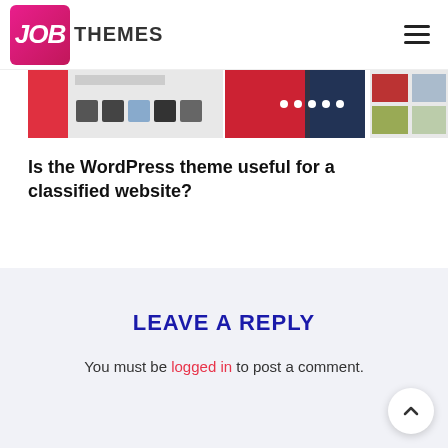JOB THEMES
[Figure (screenshot): Horizontal strip of website theme screenshots showing various templates with images and UI elements]
Is the WordPress theme useful for a classified website?
LEAVE A REPLY
You must be logged in to post a comment.